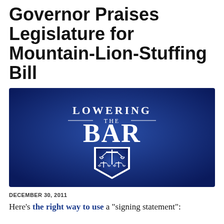Governor Praises Legislature for Mountain-Lion-Stuffing Bill
[Figure (logo): Lowering the Bar logo: dark blue gradient background with 'LOWERING THE BAR' text and a shield containing a balance of justice scales icon in white.]
DECEMBER 30, 2011
Here's the right way to use a "signing statement":